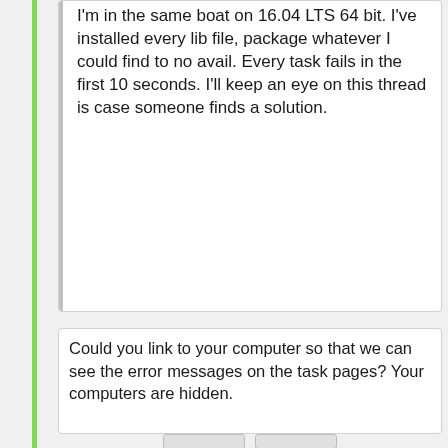I'm in the same boat on 16.04 LTS 64 bit. I've installed every lib file, package whatever I could find to no avail. Every task fails in the first 10 seconds. I'll keep an eye on this thread is case someone finds a solution.
Could you link to your computer so that we can see the error messages on the task pages? Your computers are hidden.